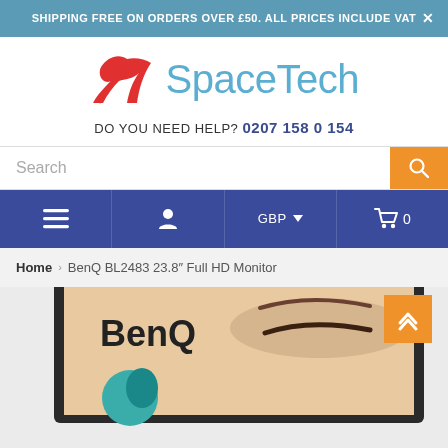SHIPPING FREE ON ORDERS OVER £50. ALL PRICES INCLUDE VAT
[Figure (logo): SpaceTech logo with red swoosh/checkmark graphic and blue SpaceTech text]
DO YOU NEED HELP? 0207 158 0 154
Search
GBP  0
Home › BenQ BL2483 23.8" Full HD Monitor
[Figure (photo): BenQ BL2483 23.8 inch monitor product photo showing the monitor display with BenQ logo and eye on screen]